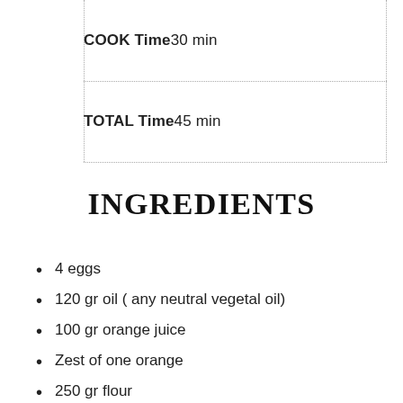COOK Time30 min
TOTAL Time45 min
INGREDIENTS
4 eggs
120 gr oil ( any neutral vegetal oil)
100 gr orange juice
Zest of one orange
250 gr flour
150 gr sugar
10 gr baking powder